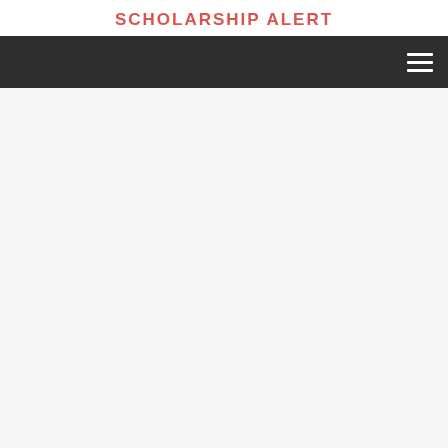SCHOLARSHIP ALERT
[Figure (other): Dark navigation bar with hamburger menu icon (three horizontal white lines) on the right side]